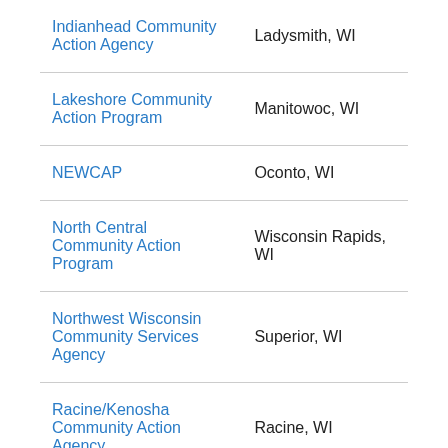| Organization | Location |
| --- | --- |
| Indianhead Community Action Agency | Ladysmith, WI |
| Lakeshore Community Action Program | Manitowoc, WI |
| NEWCAP | Oconto, WI |
| North Central Community Action Program | Wisconsin Rapids, WI |
| Northwest Wisconsin Community Services Agency | Superior, WI |
| Racine/Kenosha Community Action Agency | Racine, WI |
| Social Development | Milwaukee, WI |